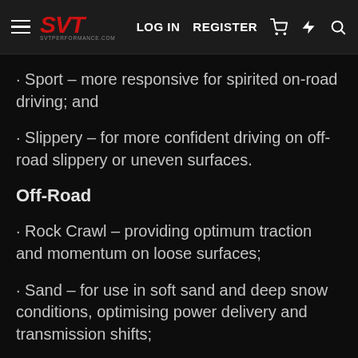SVT | LOG IN  REGISTER
· Sport – more responsive for spirited on-road driving; and
· Slippery – for more confident driving on off-road slippery or uneven surfaces.
Off-Road
· Rock Crawl – providing optimum traction and momentum on loose surfaces;
· Sand – for use in soft sand and deep snow conditions, optimising power delivery and transmission shifts;